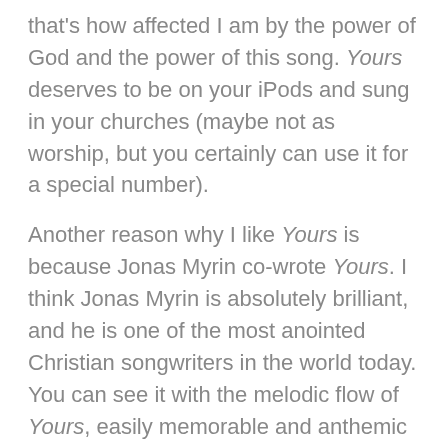that's how affected I am by the power of God and the power of this song. Yours deserves to be on your iPods and sung in your churches (maybe not as worship, but you certainly can use it for a special number).
Another reason why I like Yours is because Jonas Myrin co-wrote Yours. I think Jonas Myrin is absolutely brilliant, and he is one of the most anointed Christian songwriters in the world today. You can see it with the melodic flow of Yours, easily memorable and anthemic in its treatment. Woot, Jonas!
And Steven Curtis Chapman mentions Manila! Thank you, Steven! Woot, Philippines!
[audio:04 Yours.mp3]
Listen to Stephen Curtis Chapman Yoursmp3
Read the Yours by Steven Curtis Chapman lyrics after